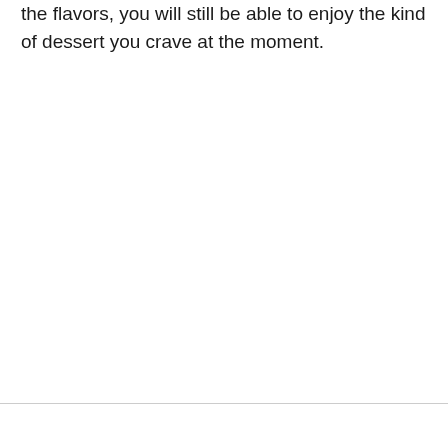the flavors, you will still be able to enjoy the kind of dessert you crave at the moment.